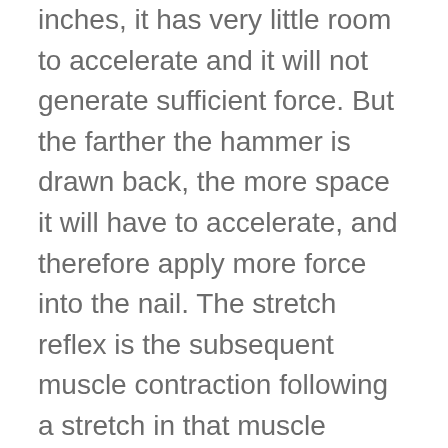inches, it has very little room to accelerate and it will not generate sufficient force. But the farther the hammer is drawn back, the more space it will have to accelerate, and therefore apply more force into the nail. The stretch reflex is the subsequent muscle contraction following a stretch in that muscle group. When muscles are actively stretched, they become capable of a stronger contraction due to tension created in the muscle, improved actin myosin interaction; which are the proteins that are actually responsible fo...